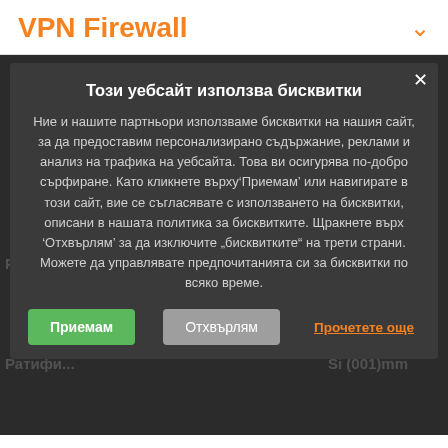VPN Firewall
Този уебсайт използва бисквитки
Ние и нашите партньори използваме бисквитки на нашия сайт, за да предоставим персонализирано съдържание, реклами и анализ на трафика на уебсайта. Това ви осигурява по-добро сърфиране. Като кликнете върху‘Приемам’ или навигирате в този сайт, вие се съгласявате с използването на бисквитки, описани в нашата политика за бисквитките. Щракнете върх ‘Отхвърлям’ за да изключите „bисквитките“ на трети страни. Можете да управлявате предпочитанията си за бисквитки по всяко време.
Приемам
Отхвърлям
Прочетете още